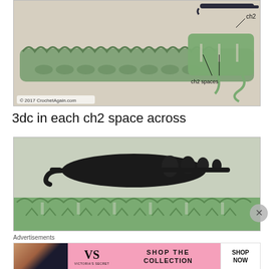[Figure (photo): Close-up photo of green crochet work showing ch2 and ch2 spaces labeled with arrows, with a crochet hook visible at top right. Watermark: © 2017 CrochetAgain.com]
3dc in each ch2 space across
[Figure (photo): Close-up photo of a black crochet hook working into green crochet stitches, showing 3dc worked in each ch2 space.]
Advertisements
[Figure (infographic): Victoria's Secret advertisement banner: woman photo on left, VS logo, text SHOP THE COLLECTION, SHOP NOW button on right.]